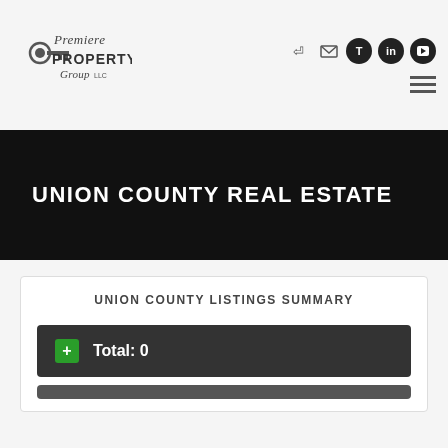[Figure (logo): Premiere Property Group LLC logo — cursive/serif text with key icon]
[Figure (other): Social media and navigation icons: login, email, Twitter, LinkedIn, YouTube, hamburger menu]
UNION COUNTY REAL ESTATE
UNION COUNTY LISTINGS SUMMARY
Total: 0